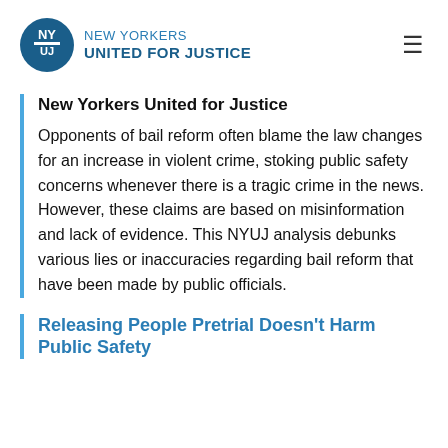NEW YORKERS UNITED FOR JUSTICE
New Yorkers United for Justice
Opponents of bail reform often blame the law changes for an increase in violent crime, stoking public safety concerns whenever there is a tragic crime in the news. However, these claims are based on misinformation and lack of evidence. This NYUJ analysis debunks various lies or inaccuracies regarding bail reform that have been made by public officials.
Releasing People Pretrial Doesn’t Harm Public Safety